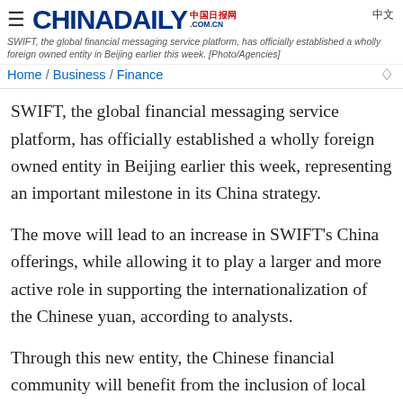China Daily — CHINADAILY.COM.CN — 中国日报网 — 中文
SWIFT, the global financial messaging service platform, has officially established a wholly foreign owned entity in Beijing earlier this week. [Photo/Agencies]
Home / Business / Finance
SWIFT, the global financial messaging service platform, has officially established a wholly foreign owned entity in Beijing earlier this week, representing an important milestone in its China strategy.
The move will lead to an increase in SWIFT's China offerings, while allowing it to play a larger and more active role in supporting the internationalization of the Chinese yuan, according to analysts.
Through this new entity, the Chinese financial community will benefit from the inclusion of local language capabilities in SWIFT's offerings, customized services that meet the domestic requirements and the acquisition of